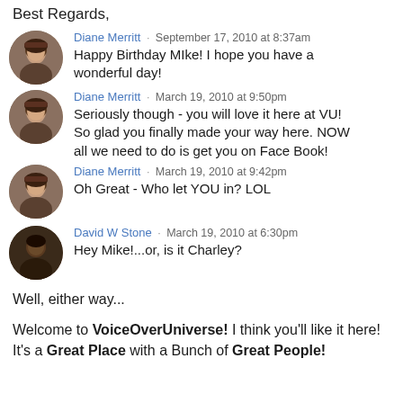Best Regards,
Diane Merritt · September 17, 2010 at 8:37am
Happy Birthday MIke! I hope you have a wonderful day!
Diane Merritt · March 19, 2010 at 9:50pm
Seriously though - you will love it here at VU! So glad you finally made your way here. NOW all we need to do is get you on Face Book!
Diane Merritt · March 19, 2010 at 9:42pm
Oh Great - Who let YOU in? LOL
David W Stone · March 19, 2010 at 6:30pm
Hey Mike!...or, is it Charley?
Well, either way...
Welcome to VoiceOverUniverse! I think you'll like it here!
It's a Great Place with a Bunch of Great People!